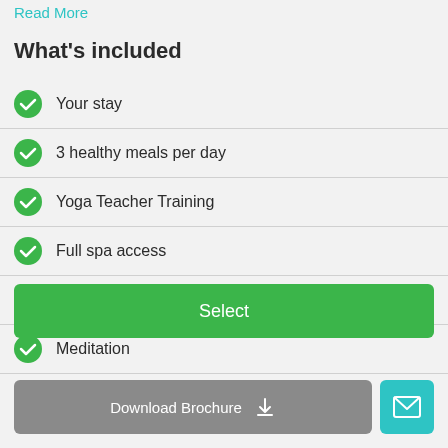Read More
What's included
Your stay
3 healthy meals per day
Yoga Teacher Training
Full spa access
Daily guided yoga class
Meditation
Select
Download Brochure